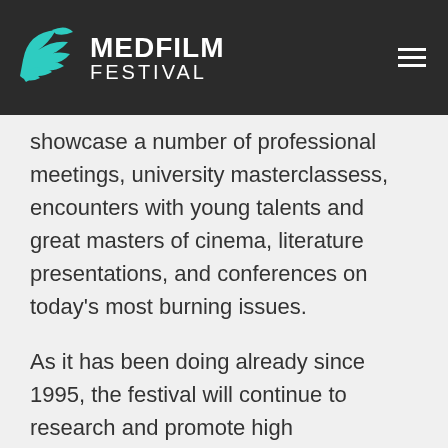MEDFILM FESTIVAL
showcase a number of professional meetings, university masterclassess, encounters with young talents and great masters of cinema, literature presentations, and conferences on today's most burning issues.
As it has been doing already since 1995, the festival will continue to research and promote high